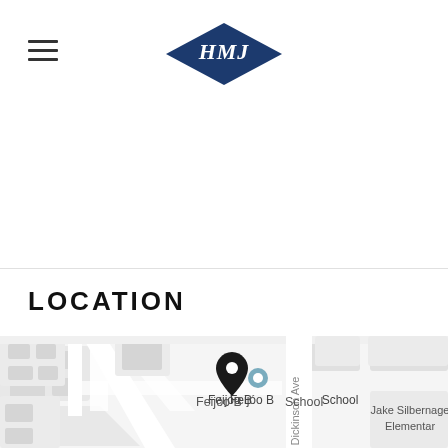[Figure (logo): HMJ logo — blue diamond shape with white italic serif letters HMJ inside]
LOCATION
[Figure (map): Street map showing location near Feijóo Bilingual School and Dickinson Ave, with a black map pin marker and a teal location dot. Jake Silbernagel Elementary visible at right edge.]